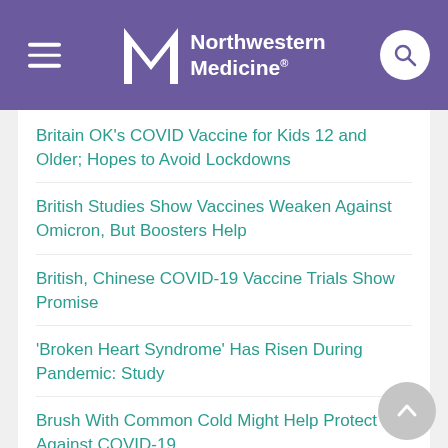Northwestern Medicine
Britain OK's COVID Vaccine for Kids 12 and Older; Hopes to Avoid Lockdowns
British Studies Show Vaccines Weaken Against Omicron, But Boosters Help
British, Chinese COVID-19 Vaccine Trials Show Promise
'Broken Heart Syndrome' Has Risen During Pandemic: Study
Brush With Common Cold Might Help Protect Against COVID-19
Calcium Supplements Could Spell Trouble for Older Heart Patients
California Brings Back Indoor Mask Mandate